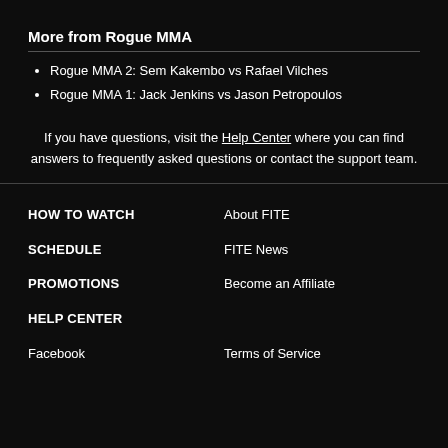More from Rogue MMA
Rogue MMA 2: Sem Kakembo vs Rafael Vilches
Rogue MMA 1: Jack Jenkins vs Jason Petropoulos
If you have questions, visit the Help Center where you can find answers to frequently asked questions or contact the support team.
HOW TO WATCH | About FITE | SCHEDULE | FITE News | PROMOTIONS | Become an Affiliate | HELP CENTER | Facebook | Terms of Service